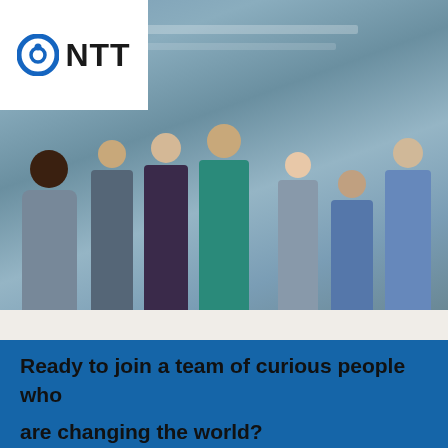[Figure (photo): NTT company logo with circular eye icon in blue and bold NTT text in black, on white background in top-left corner]
[Figure (photo): Group of diverse office workers smiling and standing/sitting together in a modern office environment]
Ready to join a team of curious people who are changing the world?

Doing great things together means working with smart, passionate colleagues, partners